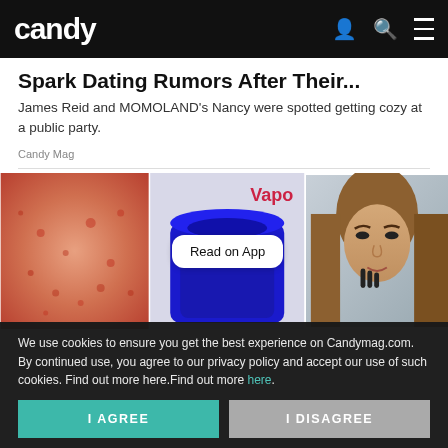candy
Spark Dating Rumors After Their...
James Reid and MOMOLAND's Nancy were spotted getting cozy at a public party.
Candy Mag
[Figure (photo): Three side-by-side thumbnail images: (1) close-up of reddish irritated skin, (2) Vaporub jar with blue lid and partial 'Vapo' red text, (3) young woman with long hair touching her face looking concerned. A 'Read on App' button overlaid on the center image.]
We use cookies to ensure you get the best experience on Candymag.com. By continued use, you agree to our privacy policy and accept our use of such cookies. Find out more here.Find out more here.
I AGREE
I DISAGREE